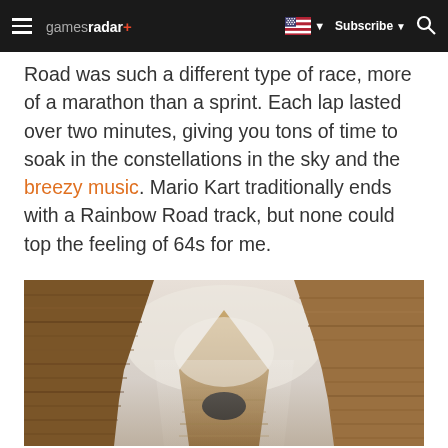gamesradar+  Subscribe
Road was such a different type of race, more of a marathon than a sprint. Each lap lasted over two minutes, giving you tons of time to soak in the constellations in the sky and the breezy music. Mario Kart traditionally ends with a Rainbow Road track, but none could top the feeling of 64s for me.
[Figure (photo): A 3D rendered canyon scene showing layered sandstone rock formations with warm brown tones, a narrow passage with an arch or tunnel opening in the center, and misty light in the background.]